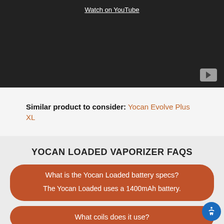[Figure (screenshot): YouTube video thumbnail area showing dark background with Watch on YouTube link and play button icon]
Similar product to consider: Yocan Evolve Plus XL
YOCAN LOADED VAPORIZER FAQS
What is the Yocan Loaded battery specs? The Yocan Loaded uses a 1400mAh battery.
What coils does it use?